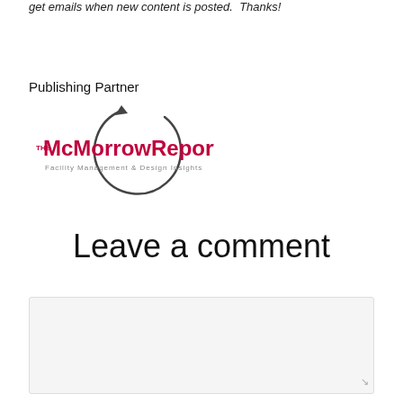get emails when new content is posted. Thanks!
Publishing Partner
[Figure (logo): The McMorrow Reports logo — red bold text 'McMorrowReports' with 'THE' superscript at left, subtitle 'Facility Management & Design Insights' in gray, encircled by a dark circular arrow.]
Leave a comment
Message *